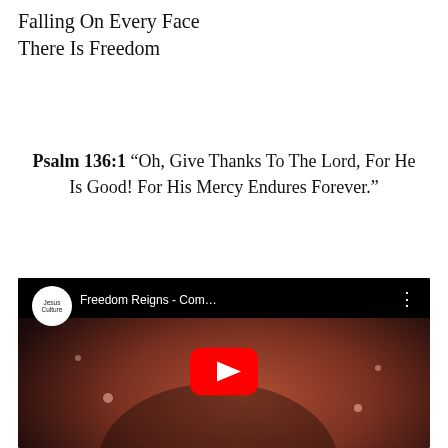Falling On Every Face
There Is Freedom
Psalm 136:1 “Oh, Give Thanks To The Lord, For He Is Good! For His Mercy Endures Forever.”
[Figure (screenshot): YouTube video thumbnail showing a woman singing on stage with a microphone, warm orange/red stage lighting. YouTube play button overlay. Channel logo shows 'Jesus Culture'. Video title reads 'Freedom Reigns - Com...']